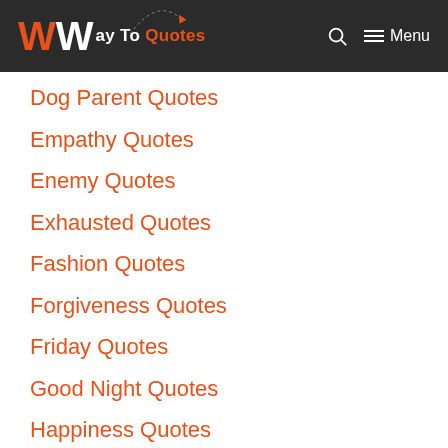Way To Quotes — Menu
Dog Parent Quotes
Empathy Quotes
Enemy Quotes
Exhausted Quotes
Fashion Quotes
Forgiveness Quotes
Friday Quotes
Good Night Quotes
Happiness Quotes
Happy New Year Quotes
Hate Quotes
Hiking Quotes